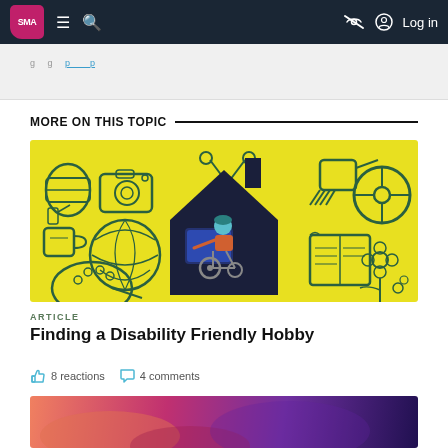SMA — navigation bar with hamburger menu, search, eye-slash icon, and Log in button
[Figure (screenshot): Gray banner strip with partially visible text and blue link]
MORE ON THIS TOPIC
[Figure (illustration): Yellow background illustration with hobby icons (camera, scissors, yarn, paint palette, book, flowers, watering can) surrounding a dark house silhouette containing a person in a wheelchair using a computer]
ARTICLE
Finding a Disability Friendly Hobby
8 reactions  4 comments
[Figure (illustration): Colorful abstract illustration with pink, red, and purple tones — partially visible at bottom of page]